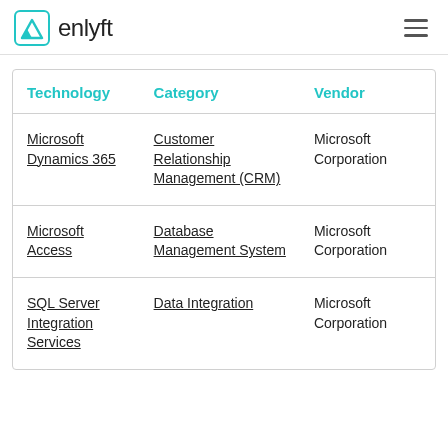enlyft
| Technology | Category | Vendor |
| --- | --- | --- |
| Microsoft Dynamics 365 | Customer Relationship Management (CRM) | Microsoft Corporation |
| Microsoft Access | Database Management System | Microsoft Corporation |
| SQL Server Integration Services | Data Integration | Microsoft Corporation |